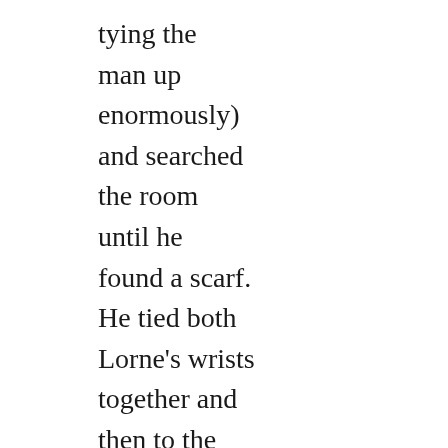tying the man up enormously) and searched the room until he found a scarf. He tied both Lorne's wrists together and then to the headboard using a reef knot (one could learn a lot from